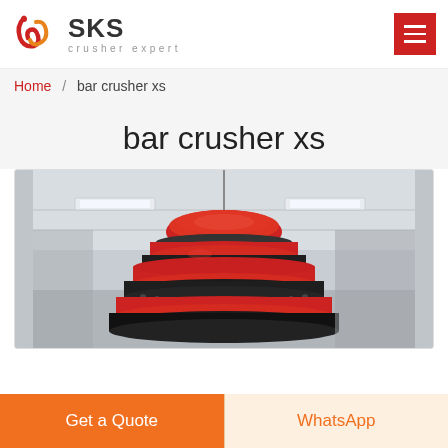SKS crusher expert
Home / bar crusher xs
bar crusher xs
[Figure (photo): Large industrial cone crusher photographed from below/side, showing red and dark grey layered metal cone body, mounted inside a factory/warehouse with steel roof trusses and fluorescent lights visible in background.]
Get a Quote  |  WhatsApp